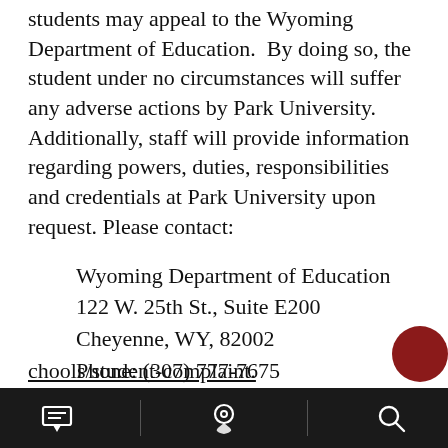students may appeal to the Wyoming Department of Education.  By doing so, the student under no circumstances will suffer any adverse actions by Park University. Additionally, staff will provide information regarding powers, duties, responsibilities and credentials at Park University upon request. Please contact:
Wyoming Department of Education
122 W. 25th St., Suite E200
Cheyenne, WY, 82002
Phone: (307) 777-7675
https://edu.wyoming.gov/downloads/schools/student-complaint.
[navigation bar with menu, location, and search icons]